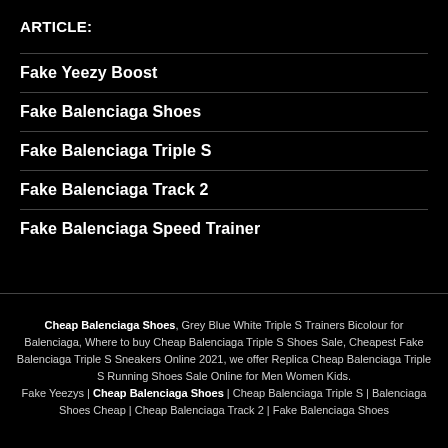ARTICLE:
Fake Yeezy Boost
Fake Balenciaga Shoes
Fake Balenciaga Triple S
Fake Balenciaga Track 2
Fake Balenciaga Speed Trainer
Cheap Balenciaga Shoes, Grey Blue White Triple S Trainers Bicolour for Balenciaga, Where to buy Cheap Balenciaga Triple S Shoes Sale, Cheapest Fake Balenciaga Triple S Sneakers Online 2021, we offer Replica Cheap Balenciaga Triple S Running Shoes Sale Online for Men Women Kids.
Fake Yeezys | Cheap Balenciaga Shoes | Cheap Balenciaga Triple S | Balenciaga Shoes Cheap | Cheap Balenciaga Track 2 | Fake Balenciaga Shoes